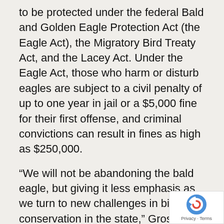to be protected under the federal Bald and Golden Eagle Protection Act (the Eagle Act), the Migratory Bird Treaty Act, and the Lacey Act. Under the Eagle Act, those who harm or disturb eagles are subject to a civil penalty of up to one year in jail or a $5,000 fine for their first offense, and criminal convictions can result in fines as high as $250,000.
“We will not be abandoning the bald eagle, but giving it less emphasis as we turn to new challenges in bird conservation in the state,” Gross said.
The Game Commission, too, will continue to follow its bald-eagle management plan, whic calls for the agency to monitor nests, at leas through 2017.